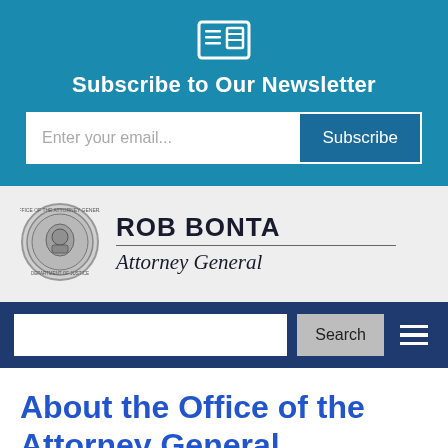Subscribe to Our Newsletter
[Figure (screenshot): Newsletter subscription section with email input and Subscribe button on teal background]
[Figure (logo): California Department of Justice seal/logo - circular emblem]
ROB BONTA
Attorney General
[Figure (screenshot): Dark blue navigation bar with search input field, Search button, and hamburger menu icon]
About the Office of the Attorney General
Home / About the AG